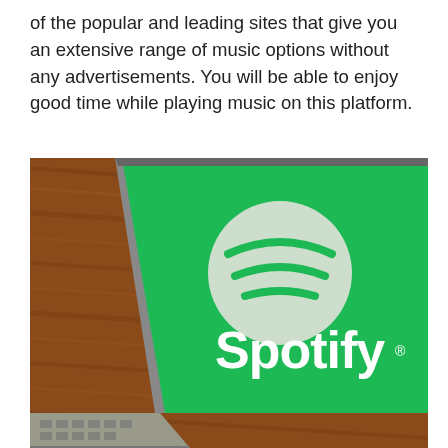of the popular and leading sites that give you an extensive range of music options without any advertisements. You will be able to enjoy good time while playing music on this platform.
[Figure (photo): A laptop with a green screen displaying the Spotify logo — a white circle with three curved white sound-wave lines — and the word 'Spotify' in white text with a registered trademark symbol. The laptop is resting on a wooden surface.]